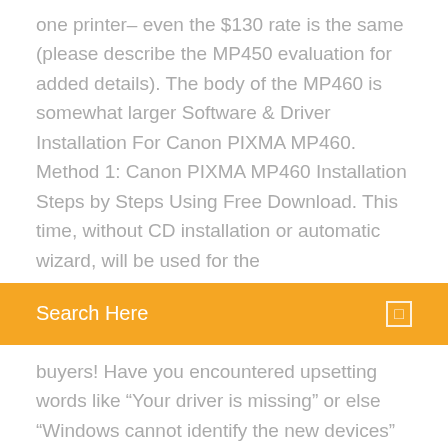one printer– even the $130 rate is the same (please describe the MP450 evaluation for added details). The body of the MP460 is somewhat larger Software & Driver Installation For Canon PIXMA MP460. Method 1: Canon PIXMA MP460 Installation Steps by Steps Using Free Download. This time, without CD installation or automatic wizard, will be used for the
[Figure (screenshot): Orange search bar with 'Search Here' label and a small square icon on the right]
buyers! Have you encountered upsetting words like “Your driver is missing” or else “Windows cannot identify the new devices” on your monitor when trying to make use of the printer? Find the right driver for your Canon Pixma Printer. Download software for your Pixma printer and much more. We use cookies to provide you with the best possible experience in your interactions with Canon and on our website – find out more about our use of Cookies and change your cookie settings here .
Download pixelmon ultima version